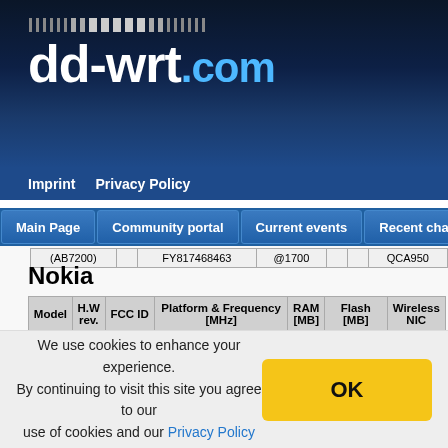[Figure (logo): dd-wrt.com logo with dot decoration on dark blue gradient background]
Imprint   Privacy Policy
Main Page   Community portal   Current events   Recent changes
| (AB7200) |  | FY817468463 | @1700 |  | QCA950... |
Nokia
| Model | H.W rev. | FCC ID | Platform & Frequency [MHz] | RAM [MB] | Flash [MB] | Wireless NIC |
| --- | --- | --- | --- | --- | --- | --- |
| IP110 | - | - | Geode@300 | 64 | 5GB HDD | - |
We use cookies to enhance your experience. By continuing to visit this site you agree to our use of cookies and our Privacy Policy